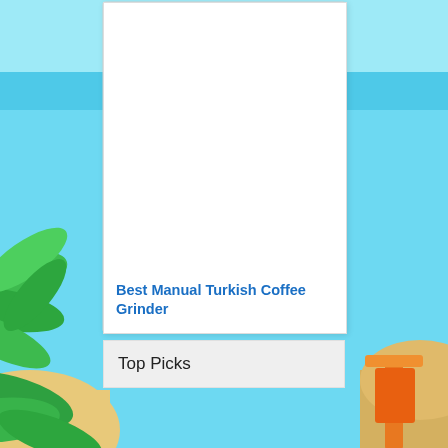[Figure (illustration): Beach scene background with cyan sky, water, sandy beach with palm leaves on the left side and orange/tan beach chair on the right side. White card in the center with a blank white area (image placeholder) and a blue link text at the bottom.]
Best Manual Turkish Coffee Grinder
Top Picks